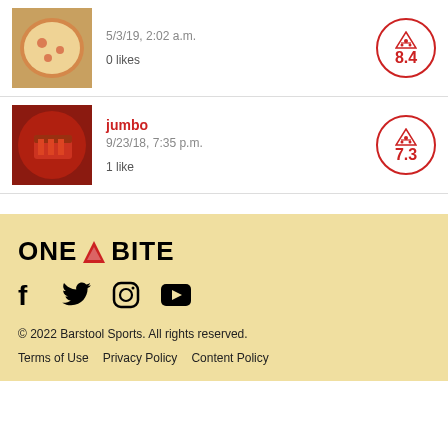5/3/19, 2:02 a.m.
0 likes
jumbo
9/23/18, 7:35 p.m.
1 like
ONE BITE
© 2022 Barstool Sports. All rights reserved.
Terms of Use    Privacy Policy    Content Policy